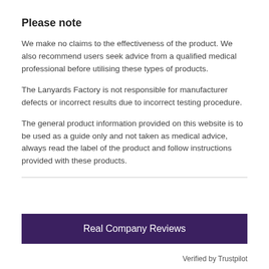Please note
We make no claims to the effectiveness of the product. We also recommend users seek advice from a qualified medical professional before utilising these types of products.
The Lanyards Factory is not responsible for manufacturer defects or incorrect results due to incorrect testing procedure.
The general product information provided on this website is to be used as a guide only and not taken as medical advice, always read the label of the product and follow instructions provided with these products.
Real Company Reviews
Verified by Trustpilot